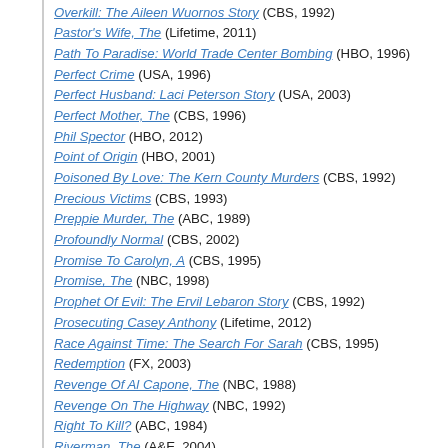Overkill: The Aileen Wuornos Story (CBS, 1992)
Pastor's Wife, The (Lifetime, 2011)
Path To Paradise: World Trade Center Bombing (HBO, 1996)
Perfect Crime (USA, 1996)
Perfect Husband: Laci Peterson Story (USA, 2003)
Perfect Mother, The (CBS, 1996)
Phil Spector (HBO, 2012)
Point of Origin (HBO, 2001)
Poisoned By Love: The Kern County Murders (CBS, 1992)
Precious Victims (CBS, 1993)
Preppie Murder, The (ABC, 1989)
Profoundly Normal (CBS, 2002)
Promise To Carolyn, A (CBS, 1995)
Promise, The (NBC, 1998)
Prophet Of Evil: The Ervil Lebaron Story (CBS, 1992)
Prosecuting Casey Anthony (Lifetime, 2012)
Race Against Time: The Search For Sarah (CBS, 1995)
Redemption (FX, 2003)
Revenge Of Al Capone, The (NBC, 1988)
Revenge On The Highway (NBC, 1992)
Right To Kill? (ABC, 1984)
Riverman, The (A&E, 2004)
Romeo Killer: The Chris Porco Story (Lifetime, 2012)
Secrets of a Gold Digger Killer (Lifetime, 2020)
Secrets of a Marino's Wife (Lifetime, 2020)